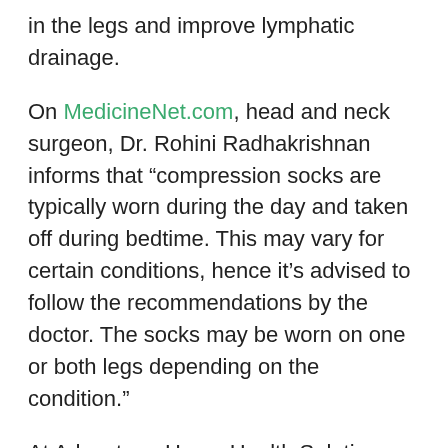in the legs and improve lymphatic drainage.
On MedicineNet.com, head and neck surgeon, Dr. Rohini Radhakrishnan informs that “compression socks are typically worn during the day and taken off during bedtime. This may vary for certain conditions, hence it’s advised to follow the recommendations by the doctor. The socks may be worn on one or both legs depending on the condition.”
At Advantage Home Health Solutions, we have certified fitters to help you choose the best compression solution to help you live better and healthier. We always ensure that you have the complete picture to make an informed decision. You will know all of the possible options so you can choose which solution is best for you.
For more information about our incontinence products and compression stockings, please don’t hesitate to